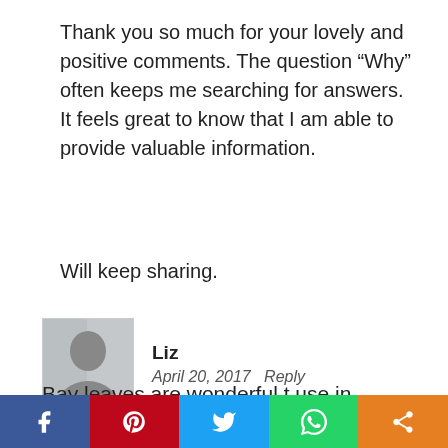Thank you so much for your lovely and positive comments. The question “Why” often keeps me searching for answers. It feels great to know that I am able to provide valuable information.
Will keep sharing.
Liz
April 20, 2017   Reply
Bay leaves are wonderful t use in cultural